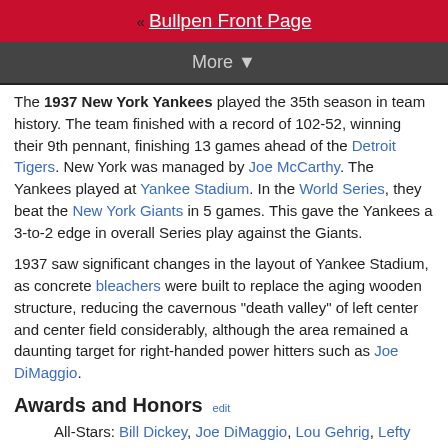« Bullpen Front Page
More ▼
The 1937 New York Yankees played the 35th season in team history. The team finished with a record of 102-52, winning their 9th pennant, finishing 13 games ahead of the Detroit Tigers. New York was managed by Joe McCarthy. The Yankees played at Yankee Stadium. In the World Series, they beat the New York Giants in 5 games. This gave the Yankees a 3-to-2 edge in overall Series play against the Giants.
1937 saw significant changes in the layout of Yankee Stadium, as concrete bleachers were built to replace the aging wooden structure, reducing the cavernous "death valley" of left center and center field considerably, although the area remained a daunting target for right-handed power hitters such as Joe DiMaggio.
Awards and Honors
All-Stars: Bill Dickey, Joe DiMaggio, Lou Gehrig, Lefty Gomez, Johnny Murphy and Red Rolfe